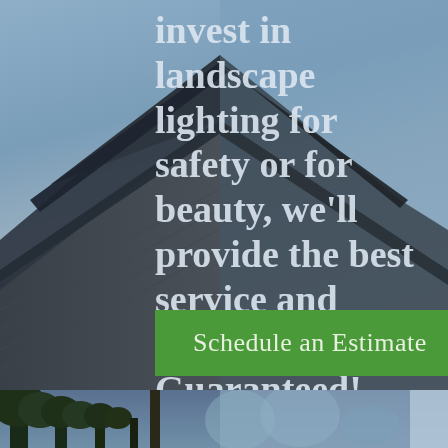[Figure (photo): Background photo of a house rooftop with dark grey siding and a triangular gable peak against a blue-grey twilight sky. Trees visible in the lower portion.]
invest in landscape lighting for safety or for beauty, we'll provide the best service and products! Guaranteed!
Schedule an Estimate
[Figure (photo): Bottom strip photo showing trees and landscape with evening/dusk lighting, partially cropped.]